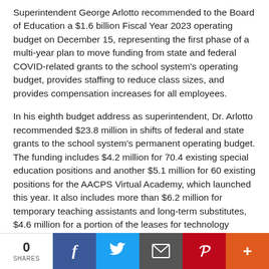Superintendent George Arlotto recommended to the Board of Education a $1.6 billion Fiscal Year 2023 operating budget on December 15, representing the first phase of a multi-year plan to move funding from state and federal COVID-related grants to the school system's operating budget, provides staffing to reduce class sizes, and provides compensation increases for all employees.
In his eighth budget address as superintendent, Dr. Arlotto recommended $23.8 million in shifts of federal and state grants to the school system's permanent operating budget. The funding includes $4.2 million for 70.4 existing special education positions and another $5.1 million for 60 existing positions for the AACPS Virtual Academy, which launched this year. It also includes more than $6.2 million for temporary teaching assistants and long-term substitutes, $4.6 million for a portion of the leases for technology equipment acquired
0 SHARES | Facebook | Twitter | Email | Pinterest | More